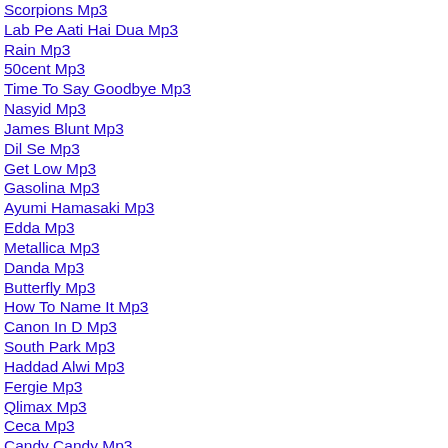Scorpions Mp3
Lab Pe Aati Hai Dua Mp3
Rain Mp3
50cent Mp3
Time To Say Goodbye Mp3
Nasyid Mp3
James Blunt Mp3
Dil Se Mp3
Get Low Mp3
Gasolina Mp3
Ayumi Hamasaki Mp3
Edda Mp3
Metallica Mp3
Danda Mp3
Butterfly Mp3
How To Name It Mp3
Canon In D Mp3
South Park Mp3
Haddad Alwi Mp3
Fergie Mp3
Qlimax Mp3
Ceca Mp3
Candy Candy Mp3
Vegatoz Mp3
Korn Mp3